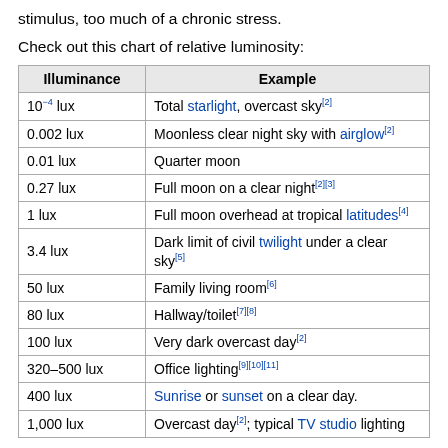stimulus, too much of a chronic stress.
Check out this chart of relative luminosity:
| Illuminance | Example |
| --- | --- |
| 10−4 lux | Total starlight, overcast sky[2] |
| 0.002 lux | Moonless clear night sky with airglow[2] |
| 0.01 lux | Quarter moon |
| 0.27 lux | Full moon on a clear night[2][3] |
| 1 lux | Full moon overhead at tropical latitudes[4] |
| 3.4 lux | Dark limit of civil twilight under a clear sky[5] |
| 50 lux | Family living room[6] |
| 80 lux | Hallway/toilet[7][8] |
| 100 lux | Very dark overcast day[2] |
| 320–500 lux | Office lighting[9][10][11] |
| 400 lux | Sunrise or sunset on a clear day. |
| 1,000 lux | Overcast day[2]; typical TV studio lighting |